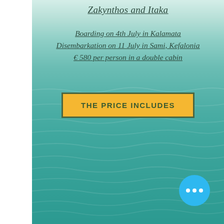Zakynthos and Itaka
Boarding on 4th July in Kalamata
Disembarkation on 11 July in Sami, Kefalonia
€ 580 per person in a double cabin
THE PRICE INCLUDES
[Figure (photo): Turquoise ocean water surface with rippling waves, aerial or water-level view, blue-green teal color throughout the lower portion of the image.]